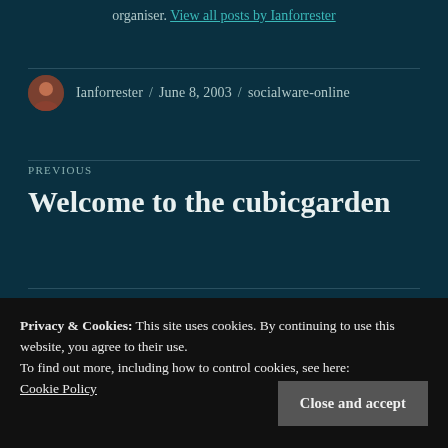organiser. View all posts by Ianforrester
Ianforrester / June 8, 2003 / socialware-online
PREVIOUS
Welcome to the cubicgarden
Privacy & Cookies: This site uses cookies. By continuing to use this website, you agree to their use.
To find out more, including how to control cookies, see here: Cookie Policy
Close and accept